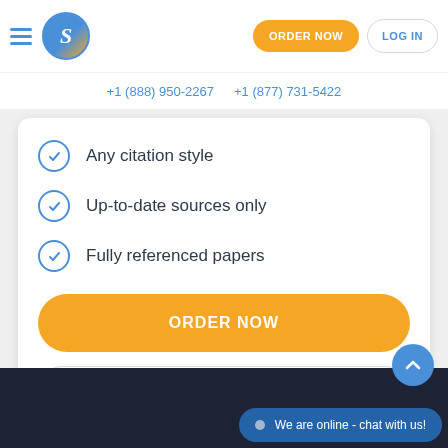[Figure (logo): Blue circle with orange gradient and white italic S letter logo]
+1 (888) 950-2267   +1 (877) 731-5422
Any citation style
Up-to-date sources only
Fully referenced papers
ORDER NOW
HESITATING
We are online - chat with us!